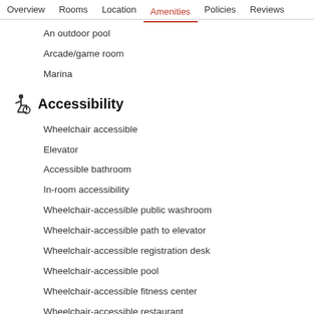Overview  Rooms  Location  Amenities  Policies  Reviews
An outdoor pool
Arcade/game room
Marina
Accessibility
Wheelchair accessible
Elevator
Accessible bathroom
In-room accessibility
Wheelchair-accessible public washroom
Wheelchair-accessible path to elevator
Wheelchair-accessible registration desk
Wheelchair-accessible pool
Wheelchair-accessible fitness center
Wheelchair-accessible restaurant
Wheelchair-accessible lounge